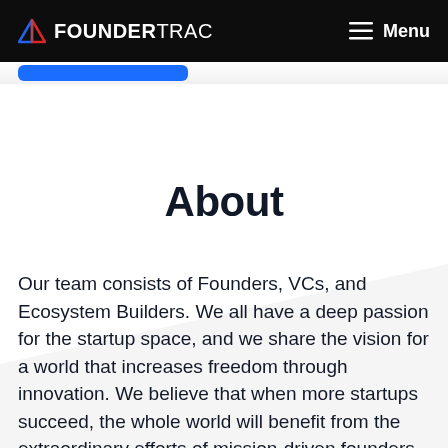FOUNDERTRAC  Menu
About
Our team consists of Founders, VCs, and Ecosystem Builders. We all have a deep passion for the startup space, and we share the vision for a world that increases freedom through innovation. We believe that when more startups succeed, the whole world will benefit from the extraordinary efforts of mission-driven founders.